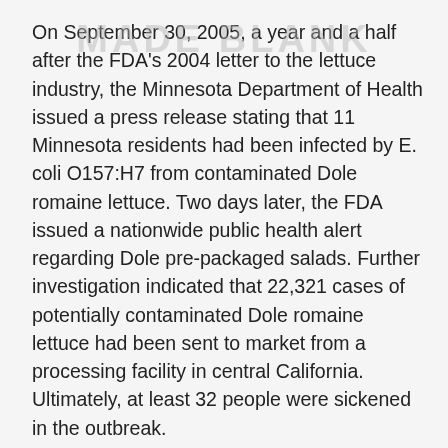On September 30, 2005, a year and a half after the FDA's 2004 letter to the lettuce industry, the Minnesota Department of Health issued a press release stating that 11 Minnesota residents had been infected by E. coli O157:H7 from contaminated Dole romaine lettuce. Two days later, the FDA issued a nationwide public health alert regarding Dole pre-packaged salads. Further investigation indicated that 22,321 cases of potentially contaminated Dole romaine lettuce had been sent to market from a processing facility in central California. Ultimately, at least 32 people were sickened in the outbreak.
One month after the 2005 Dole lettuce outbreak, the FDA wrote the industry again. The November 4, 2005 letter began as follows: “This letter is intended to